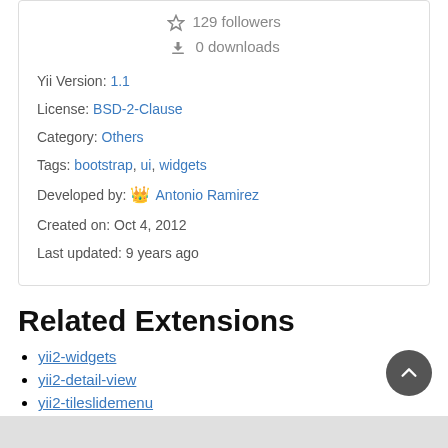129 followers
0 downloads
Yii Version: 1.1
License: BSD-2-Clause
Category: Others
Tags: bootstrap, ui, widgets
Developed by: Antonio Ramirez
Created on: Oct 4, 2012
Last updated: 9 years ago
Related Extensions
yii2-widgets
yii2-detail-view
yii2-tileslidemenu
ajaxdropdown
yii2-widget-select2